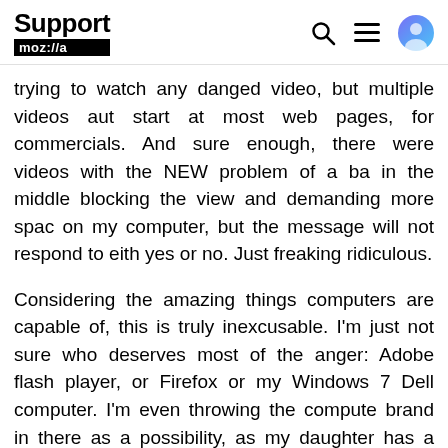Support mozilla//a
trying to watch any danged video, but multiple videos auto start at most web pages, for commercials. And sure enough, there were videos with the NEW problem of a bar in the middle blocking the view and demanding more space on my computer, but the message will not respond to either yes or no. Just freaking ridiculous.
Considering the amazing things computers are capable of, this is truly inexcusable. I'm just not sure who deserves most of the anger: Adobe flash player, or Firefox or my Windows 7 Dell computer. I'm even throwing the computer brand in there as a possibility, as my daughter has a Win 7 HP of about the same age as my Dell, and does not seem to have near the problems I have with Adobe Flash, and like I said this MAC has zero problems in any browser SO FAR. And maybe it is viruses that get on the computer